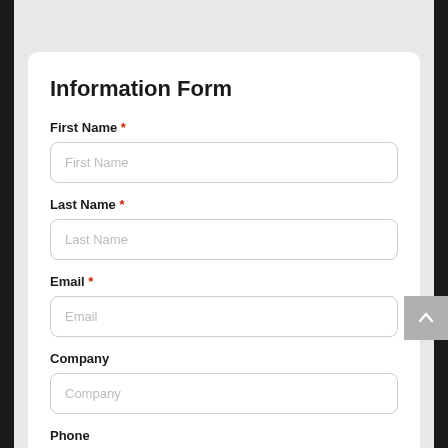Information Form
First Name *
First Name (placeholder)
Last Name *
Last Name (placeholder)
Email *
Email (placeholder)
Company
Company (placeholder)
Phone